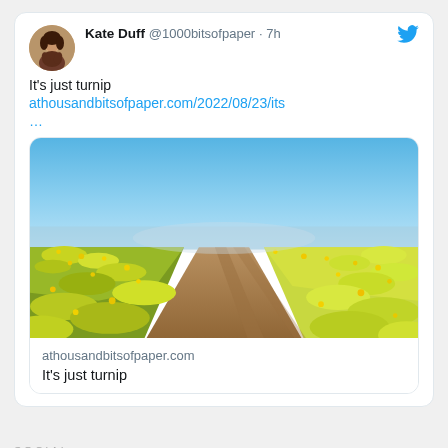Kate Duff @1000bitsofpaper · 7h
It's just turnip
athousandbitsofpaper.com/2022/08/23/its
...
[Figure (photo): A dirt path through yellow-flowering fields (turnip/rapeseed) under a bright blue sky, viewed in perspective toward the horizon.]
athousandbitsofpaper.com
It's just turnip
SOCIAL